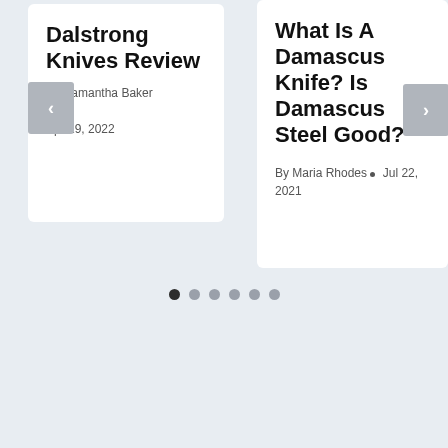Dalstrong Knives Review
By Samantha Baker • Apr 29, 2022
What Is A Damascus Knife? Is Damascus Steel Good?
By Maria Rhodes • Jul 22, 2021
[Figure (other): Carousel navigation dots: 6 dots, first dot is filled dark (active), remaining 5 are light gray]